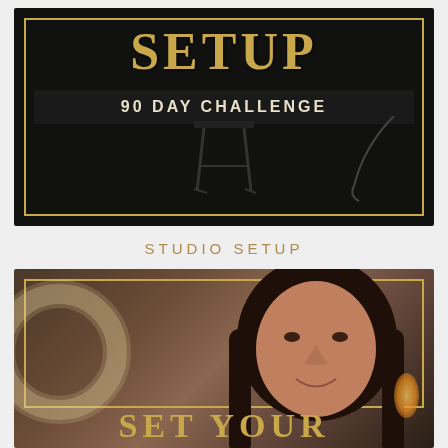[Figure (photo): Dark studio photograph with gold decorative border frame. Large gold text reading 'SETUP' at top. Black banner with white text '90 DAY CHALLENGE' beneath. Dark studio background with a stool silhouette visible.]
STUDIO SETUP
[Figure (photo): Photo of a woman with long dark hair smiling, with a circular ring light visible to her left. Gold decorative border frame. Partial gold text at bottom reading 'SET YOUR'. Warm amber/gold background tones.]